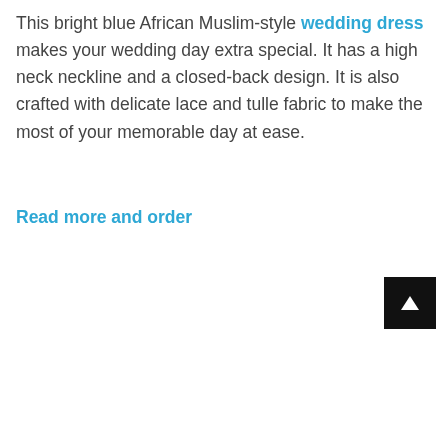This bright blue African Muslim-style wedding dress makes your wedding day extra special. It has a high neck neckline and a closed-back design. It is also crafted with delicate lace and tulle fabric to make the most of your memorable day at ease.
Read more and order
[Figure (other): Black square button with a white upward arrow icon (scroll to top button)]